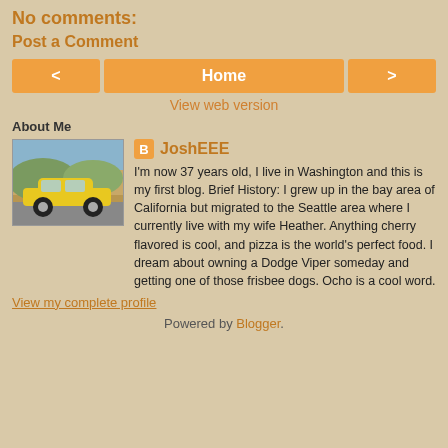No comments:
Post a Comment
< Home >
View web version
About Me
[Figure (photo): Profile photo showing a yellow sports car (Dodge Viper style) on a road with hills in background]
JoshEEE
I'm now 37 years old, I live in Washington and this is my first blog. Brief History: I grew up in the bay area of California but migrated to the Seattle area where I currently live with my wife Heather. Anything cherry flavored is cool, and pizza is the world's perfect food. I dream about owning a Dodge Viper someday and getting one of those frisbee dogs. Ocho is a cool word.
View my complete profile
Powered by Blogger.